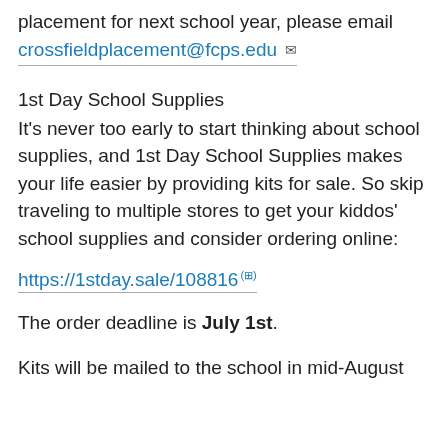placement for next school year, please email crossfieldplacement@fcps.edu
1st Day School Supplies
It's never too early to start thinking about school supplies, and 1st Day School Supplies makes your life easier by providing kits for sale. So skip traveling to multiple stores to get your kiddos' school supplies and consider ordering online:
https://1stday.sale/108816
The order deadline is July 1st.
Kits will be mailed to the school in mid-August